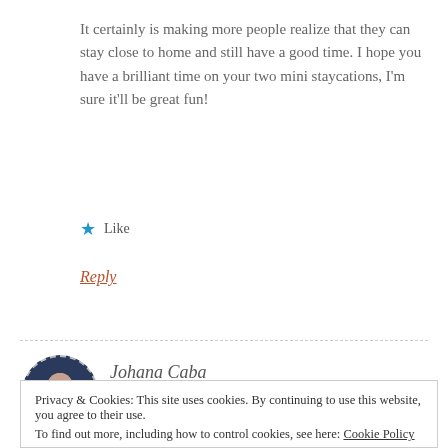It certainly is making more people realize that they can stay close to home and still have a good time. I hope you have a brilliant time on your two mini staycations, I'm sure it'll be great fun!
★ Like
Reply
Johana Caba
AUGUST 19, 2020 AT 1:38 PM
Privacy & Cookies: This site uses cookies. By continuing to use this website, you agree to their use.
To find out more, including how to control cookies, see here: Cookie Policy
Close and accept
Reply